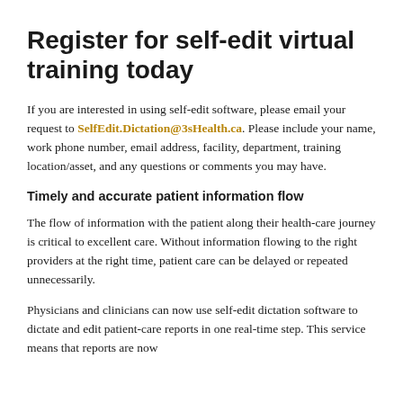Register for self-edit virtual training today
If you are interested in using self-edit software, please email your request to SelfEdit.Dictation@3sHealth.ca. Please include your name, work phone number, email address, facility, department, training location/asset, and any questions or comments you may have.
Timely and accurate patient information flow
The flow of information with the patient along their health-care journey is critical to excellent care. Without information flowing to the right providers at the right time, patient care can be delayed or repeated unnecessarily.
Physicians and clinicians can now use self-edit dictation software to dictate and edit patient-care reports in one real-time step. This service means that reports are now